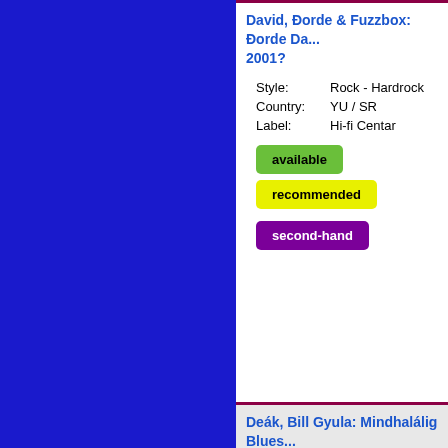David, Đorde & Fuzzbox: Đorde Da... 2001?
| Style: | Rock - Hardrock |
| Country: | YU / SR |
| Label: | Hi-fi Centar |
available | recommended | second-hand
Deák, Bill Gyula: Mindhalálig Blues... rec. 1986?
| Style: | Rock & Bluesrock |
| Country: | HU |
| Label: | Hungaroton-Mega |
available | recommended